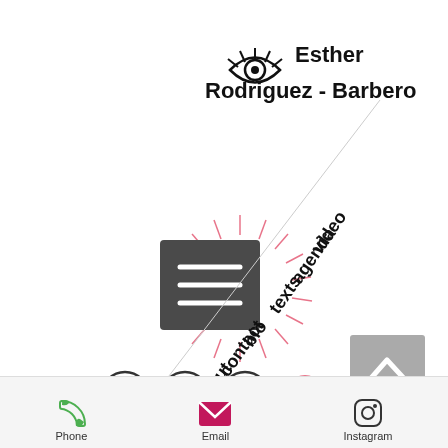[Figure (logo): Eye icon logo with eyelashes above, next to the text 'Esther Rodriguez - Barbero']
[Figure (illustration): Pink sunburst/starburst radial lines behind a dark grey square button with three horizontal white lines (hamburger/menu icon)]
[Figure (illustration): Diagonal line from top-right to bottom-left with navigation menu items written diagonally: video, agenda, texts, bio, contact, about, laborat...]
[Figure (illustration): Light grey square button with upward arrow (back to top button)]
[Figure (illustration): Social media icons row at bottom: circular icons for social networks, and a pink circle]
Phone   Email   Instagram